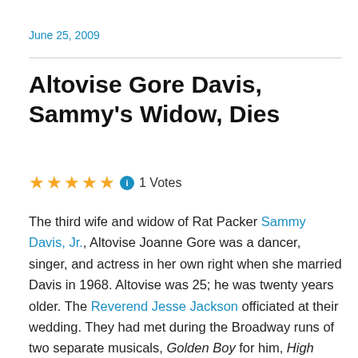June 25, 2009
Altovise Gore Davis, Sammy's Widow, Dies
★★★★★ ℹ 1 Votes
The third wife and widow of Rat Packer Sammy Davis, Jr., Altovise Joanne Gore was a dancer, singer, and actress in her own right when she married Davis in 1968. Altovise was 25; he was twenty years older. The Reverend Jesse Jackson officiated at their wedding. They had met during the Broadway runs of two separate musicals, Golden Boy for him, High Spirits for her.